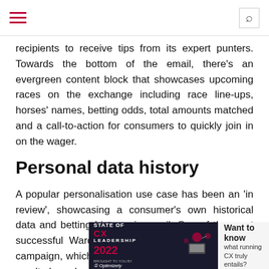[Navigation bar with hamburger menu and search icon]
recipients to receive tips from its expert punters. Towards the bottom of the email, there’s an evergreen content block that showcases upcoming races on the exchange including race line-ups, horses’ names, betting odds, total amounts matched and a call-to-action for consumers to quickly join in on the wager.
Personal data history
A popular personalisation use case has been an ‘in review’, showcasing a consumer’s own historical data and betting history via email. One of the most successful Wardle pointed to was its AFL review campaign, which shows each consumer customised results based on their zero and first-party data. This includes which AFL bets person has placed previously, plus aggregated insights into what other AFL betters have done, including most popular games, biggest upsets, highest traded prices, most popular player disposal market and teams most popular in terms of bets, and the highest priced winning same game multi bets.
[Figure (infographic): Advertisement banner for State of CX Leadership 2022 report, brought to you by Optimizely, with text 'Want to know what running CX truly entails?']